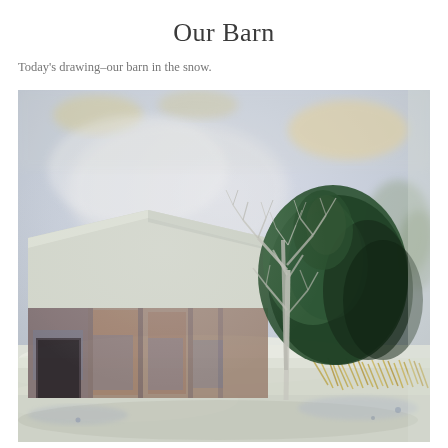Our Barn
Today's drawing–our barn in the snow.
[Figure (illustration): A soft pastel/watercolor illustration of a barn in winter snow. On the left side is a rustic barn with snow-covered roof, painted in muted blues, browns, and grays. On the right side stands a bare deciduous tree with white branches alongside a large dark green evergreen/conifer tree. The background sky is soft blue-gray and pale yellow-white, giving a wintry atmospheric feel. The foreground shows snowy ground with golden dry grasses.]